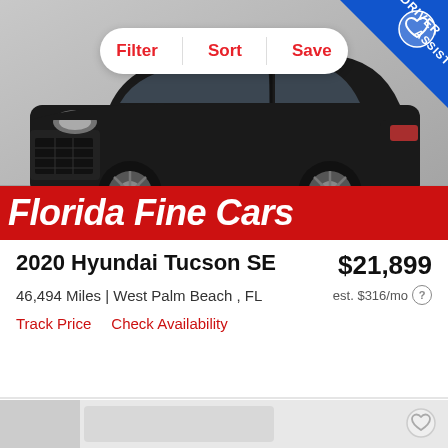[Figure (photo): Black 2020 Hyundai Tucson SE SUV photographed from the front-left angle in a showroom with grey background. A blue diagonal ribbon in the top-right corner reads 'DRIVER ASSIST'. A white pill-shaped toolbar at the top center shows Filter, Sort, Save buttons. A heart (favorite) icon is in the top-right corner.]
Florida Fine Cars
2020 Hyundai Tucson SE
$21,899
46,494 Miles | West Palm Beach , FL
est. $316/mo
Track Price   Check Availability
[Figure (photo): Partial view of a second car listing at the bottom of the page, showing a grey placeholder image area.]